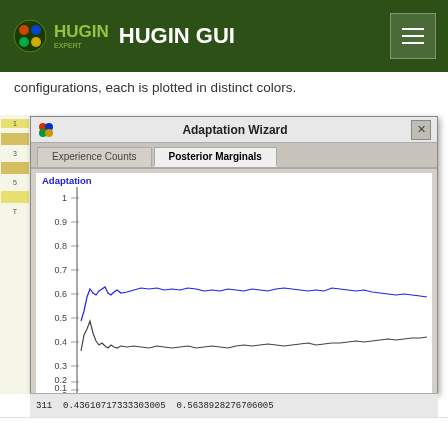HUGIN EXPERT HUGIN GUI
configurations, each is plotted in distinct colors.
[Figure (screenshot): Hugin GUI Adaptation Wizard dialog showing Posterior Marginals tab with a line chart plotting adaptation values over ~300 iterations. Two lines: blue line (no) hovering around 0.55-0.60, dark/black line (yes) around 0.40-0.42. X-axis labeled 1 through 300, Y-axis 0 to 1. Below chart: 'Plot marginals for node: Bronchitis? (B)' dropdown, and state legend rows for 'yes' (dark color) and 'no' (blue color) with checkboxes.]
311  0.43610717333303005  0.5638928276706005